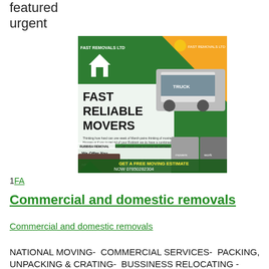featured
urgent
[Figure (illustration): Fast Removals Ltd advertisement flyer showing a moving truck, house icons, bullet points listing services (Instant Moving And Rubbish Removals Estimates, Customer support, Full Service Relocations, Certified & Insured), photos of movers, rubbish removal image, and contact details: GET A FREE MOVING ESTIMATE NOW 07850282304 Fastremovalsltd@outlook.com]
1 FA
Commercial and domestic removals
Commercial and domestic removals
NATIONAL MOVING- COMMERCIAL SERVICES- PACKING, UNPACKING & CRATING- BUSSINESS RELOCATING -